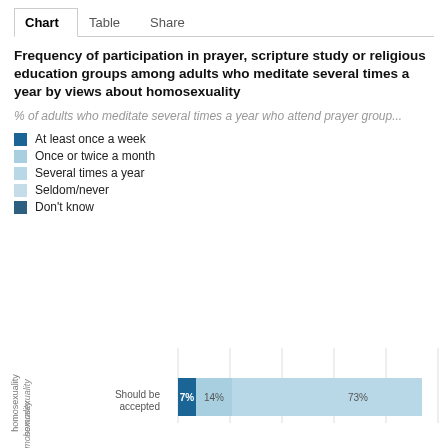Chart | Table | Share
Frequency of participation in prayer, scripture study or religious education groups among adults who meditate several times a year by views about homosexuality
% of adults who meditate several times a year who attend prayer group...
At least once a week
Once or twice a month
Several times a year
Seldom/never
Don't know
[Figure (stacked-bar-chart): Frequency of participation in prayer, scripture study or religious education groups among adults who meditate several times a year by views about homosexuality]